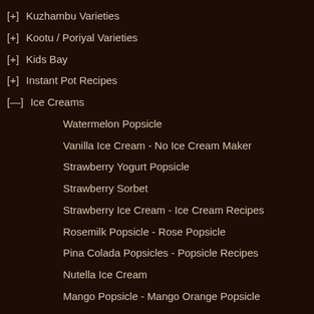[+] Kuzhambu Varieties
[+] Kootu / Poriyal Varieties
[+] Kids Bay
[+] Instant Pot Recipes
[—] Ice Creams
Watermelon Popsicle
Vanilla Ice Cream - No Ice Cream Maker
Strawberry Yogurt Popsicle
Strawberry Sorbet
Strawberry Ice Cream - Ice Cream Recipes
Rosemilk Popsicle - Rose Popsicle
Pina Colada Popsicles - Popsicle Recipes
Nutella Ice Cream
Mango Popsicle - Mango Orange Popsicle
Mango Kulfi - No Cook Version